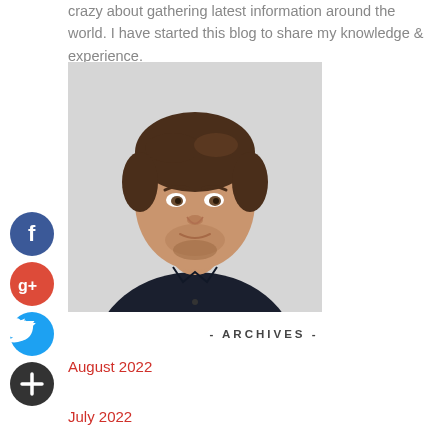crazy about gathering latest information around the world. I have started this blog to share my knowledge & experience.
[Figure (photo): Portrait photo of a young man with short brown hair and beard, wearing a dark shirt, smiling slightly, against a light grey background.]
[Figure (logo): Facebook social icon - blue circle with white 'f' letter]
[Figure (logo): Google Plus social icon - red circle with white 'g+' letters]
[Figure (logo): Twitter social icon - blue circle with white bird/twitter logo]
[Figure (logo): Plus/Add social icon - dark circle with white '+' symbol]
- ARCHIVES -
August 2022
July 2022